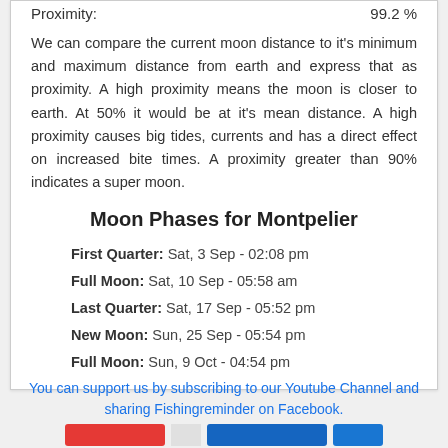Proximity: 99.2 %
We can compare the current moon distance to it's minimum and maximum distance from earth and express that as proximity. A high proximity means the moon is closer to earth. At 50% it would be at it's mean distance. A high proximity causes big tides, currents and has a direct effect on increased bite times. A proximity greater than 90% indicates a super moon.
Moon Phases for Montpelier
First Quarter: Sat, 3 Sep - 02:08 pm
Full Moon: Sat, 10 Sep - 05:58 am
Last Quarter: Sat, 17 Sep - 05:52 pm
New Moon: Sun, 25 Sep - 05:54 pm
Full Moon: Sun, 9 Oct - 04:54 pm
You can support us by subscribing to our Youtube Channel and sharing Fishingreminder on Facebook.